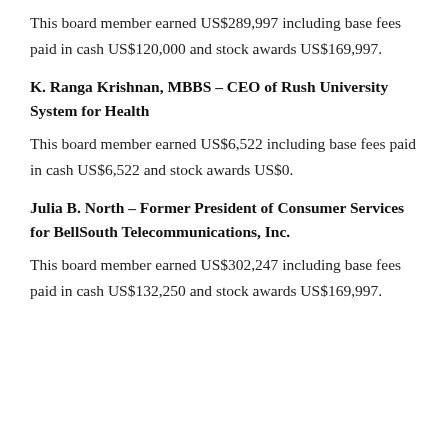This board member earned US$289,997 including base fees paid in cash US$120,000 and stock awards US$169,997.
K. Ranga Krishnan, MBBS – CEO of Rush University System for Health
This board member earned US$6,522 including base fees paid in cash US$6,522 and stock awards US$0.
Julia B. North – Former President of Consumer Services for BellSouth Telecommunications, Inc.
This board member earned US$302,247 including base fees paid in cash US$132,250 and stock awards US$169,997.